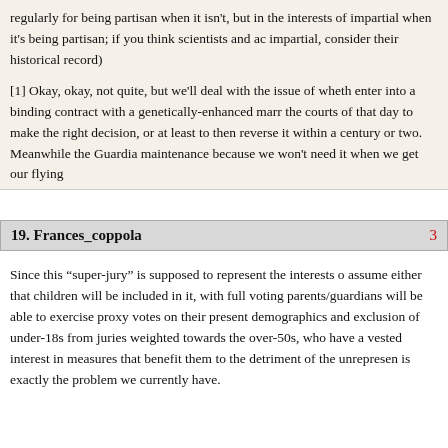regularly for being partisan when it isn't, but in the interests of impartial when it's being partisan; if you think scientists and ac impartial, consider their historical record)
[1] Okay, okay, not quite, but we'll deal with the issue of wheth enter into a binding contract with a genetically-enhanced marr the courts of that day to make the right decision, or at least to then reverse it within a century or two. Meanwhile the Guardia maintenance because we won't need it when we get our flying
19. Frances_coppola
Since this “super-jury” is supposed to represent the interests o assume either that children will be included in it, with full voting parents/guardians will be able to exercise proxy votes on their present demographics and exclusion of under-18s from juries weighted towards the over-50s, who have a vested interest in measures that benefit them to the detriment of the unrepresen is exactly the problem we currently have.